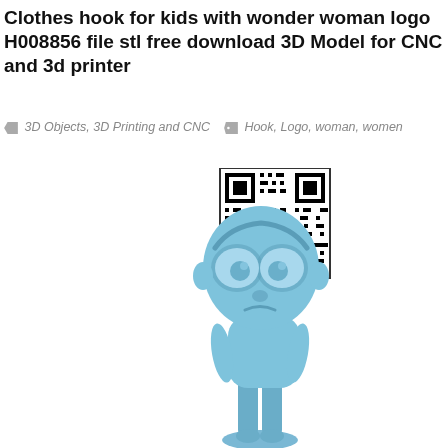Clothes hook for kids with wonder woman logo H008856 file stl free download 3D Model for CNC and 3d printer
3D Objects, 3D Printing and CNC   Hook, Logo, woman, women
[Figure (photo): A blue 3D-printed figurine resembling a cartoon character (Morty from Rick and Morty), shown from the front, with large round eyes, small nose, and a sad expression, wearing a t-shirt and pants, standing on a small round base. A QR code is shown to the upper-left of the figurine.]